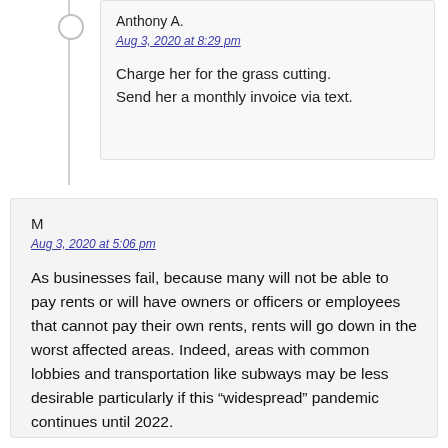Anthony A.
Aug 3, 2020 at 8:29 pm
Charge her for the grass cutting. Send her a monthly invoice via text.
M
Aug 3, 2020 at 5:06 pm
As businesses fail, because many will not be able to pay rents or will have owners or officers or employees that cannot pay their own rents, rents will go down in the worst affected areas. Indeed, areas with common lobbies and transportation like subways may be less desirable particularly if this “widespread” pandemic continues until 2022.